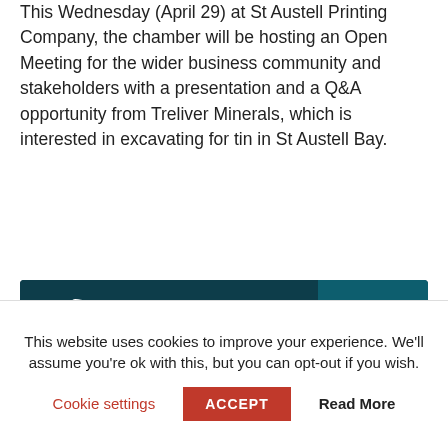This Wednesday (April 29) at St Austell Printing Company, the chamber will be hosting an Open Meeting for the wider business community and stakeholders with a presentation and a Q&A opportunity from Treliver Minerals, which is interested in excavating for tin in St Austell Bay.
[Figure (infographic): Wildanet business broadband advertisement banner: dark teal background, bird/wifi logo on left, '3 MONTHS FREE* BUSINESS BROADBAND' text in centre (yellow and white italic bold), 'Wildanet.com/business' in yellow on darker teal button on right.]
TAGS   patrick mcloughlin mp   st austell bay chamber of commerce   st austell printing company
This website uses cookies to improve your experience. We'll assume you're ok with this, but you can opt-out if you wish.
Cookie settings   ACCEPT   Read More